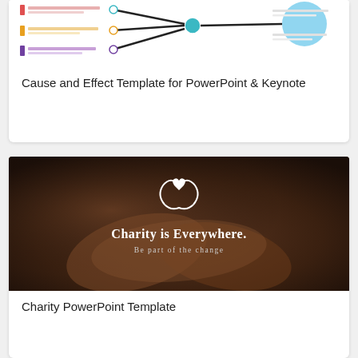[Figure (screenshot): Cause and Effect (fishbone/mind map) diagram template preview with colored cause labels on the left, lines connecting to a central node, and a large blue circle on the right.]
Cause and Effect Template for PowerPoint & Keynote
[Figure (photo): Dark photo of two hands clasped together, overlaid with a white heart-in-hands charity icon, bold white text 'Charity is Everywhere.' and smaller text 'Be part of the change'.]
Charity PowerPoint Template